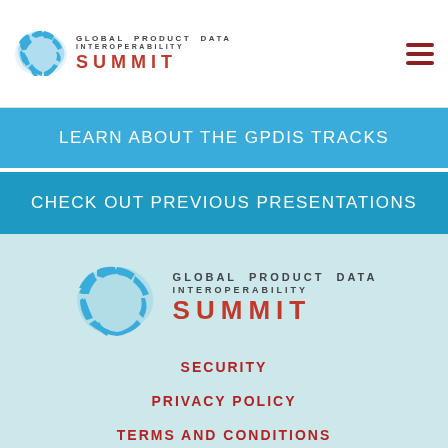[Figure (logo): Global Product Data Interoperability Summit logo with world map graphic and hamburger menu icon]
LEARN ABOUT THE GPDIS TRACKS
CHECK OUT PREVIOUS PRESENTATIONS
[Figure (logo): Global Product Data Interoperability Summit large footer logo with world map graphic]
SECURITY
PRIVACY POLICY
TERMS AND CONDITIONS